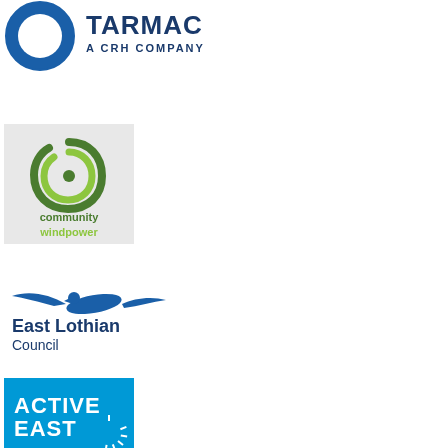[Figure (logo): Tarmac - A CRH Company logo: blue circle/hexagon shape on left, bold blue text TARMAC with A CRH COMPANY subtitle]
[Figure (logo): Community Windpower logo: spiral green and lime swirl symbol on grey background with community windpower text]
[Figure (logo): East Lothian Council logo: blue flying eagle/bird above text East Lothian Council]
[Figure (logo): Active East logo: blue background with ACTIVE EAST text and sunburst graphic (partially visible)]